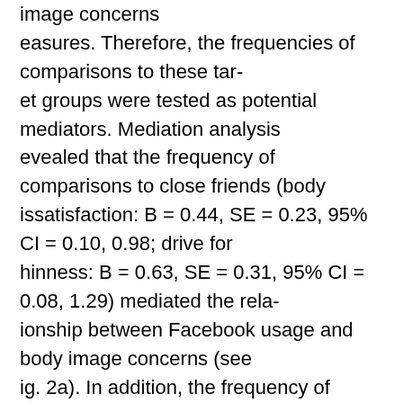image concerns
easures. Therefore, the frequencies of comparisons to these tar-
et groups were tested as potential mediators. Mediation analysis
evealed that the frequency of comparisons to close friends (body
issatisfaction: B = 0.44, SE = 0.23, 95% CI = 0.10, 0.98; drive for
hinness: B = 0.63, SE = 0.31, 95% CI = 0.08, 1.29) mediated the rela-
ionship between Facebook usage and body image concerns (see
ig. 2a). In addition, the frequency of comparisons to distant peers
body dissatisfaction: B = 0.64, SE = 0.26, 95% CI = 0.22, 1.28; drive
or thinness: B = 0.82, SE = 0.30, 95% CI = 0.29, 1.49) also